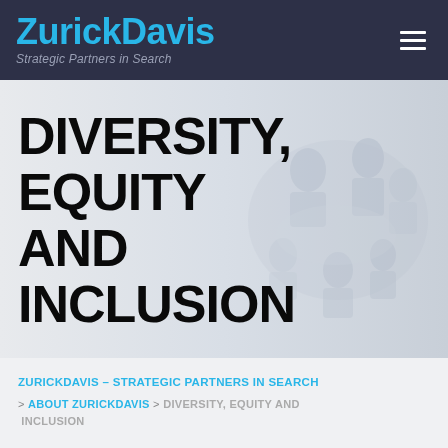ZurickDavis – Strategic Partners in Search
DIVERSITY, EQUITY AND INCLUSION
[Figure (photo): Faded overhead photo of a diverse group of professionals in a meeting, used as hero image background]
ZURICKDAVIS – STRATEGIC PARTNERS IN SEARCH > ABOUT ZURICKDAVIS > DIVERSITY, EQUITY AND INCLUSION